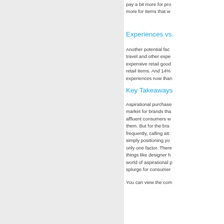pay a bit more for pro more for items that w
Experiences vs.
Another potential fac travel and other expe expensive retail good retail items. And 14% experiences now than
Key Takeaways
Aspirational purchase market for brands tha affluent consumers w them. But for the bra frequently, calling att simply positioning yo only one factor. There things like designer h world of aspirational p splurge for consumer
You can view the com